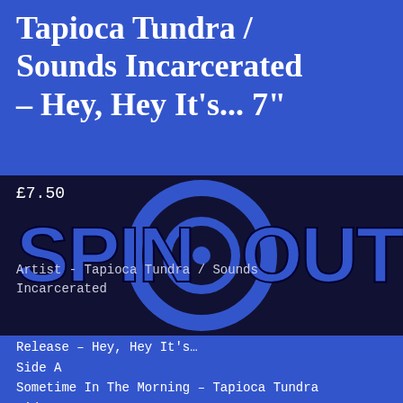Tapioca Tundra / Sounds Incarcerated – Hey, Hey It's... 7"
[Figure (logo): Spinout record store logo: large bold letters SPINOUT in dark blue/black banner with spiral graphic in centre]
£7.50
Artist - Tapioca Tundra / Sounds Incarcerated
Release – Hey, Hey It's…
Side A
Sometime In The Morning – Tapioca Tundra
Side B